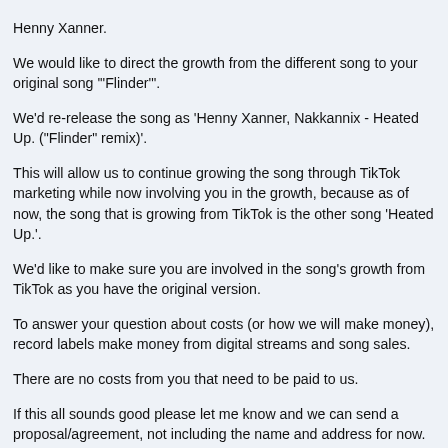Henny Xanner.
We would like to direct the growth from the different song to your original song '"Flinder'".
We'd re-release the song as 'Henny Xanner, Nakkannix - Heated Up. ("Flinder" remix)'.
This will allow us to continue growing the song through TikTok marketing while now involving you in the growth, because as of now, the song that is growing from TikTok is the other song 'Heated Up.'.
We'd like to make sure you are involved in the song's growth from TikTok as you have the original version.
To answer your question about costs (or how we will make money), record labels make money from digital streams and song sales.
There are no costs from you that need to be paid to us.
If this all sounds good please let me know and we can send a proposal/agreement, not including the name and address for now. (I had not wanted to send my sons name and address to them)
Are there any official channels or ways to speak to these people?
This website uses cookies to ensure you get the best experience on our website.
Learn more
Got it!
AndyJ
Oracle
Re: Son needs help